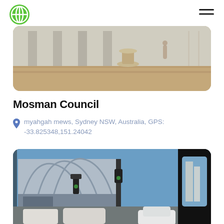App logo and navigation menu
[Figure (photo): Outdoor plaza area with stone fountain/pedestal, paved courtyard, architectural columns and a person walking in the background]
Mosman Council
myahgah mews, Sydney NSW, Australia, GPS: -33.825348,151.24042
[Figure (photo): Street scene with modern curved metal-clad building, traffic lights, cars on road, viewed from inside a vehicle]